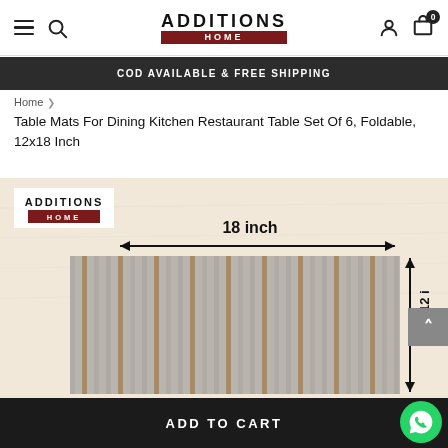ADDITIONS HOME — navigation bar with hamburger, search, logo, user, cart (0)
COD AVAILABLE & FREE SHIPPING
Home > Table Mats For Dining Kitchen Restaurant Table Set Of 6, Foldable, 12x18 Inch
Table Mats For Dining Kitchen Restaurant Table Set Of 6, Foldable, 12x18 Inch
[Figure (photo): Product image of a woven table mat placed on a light beige background. The mat has a striped gray and brown pattern. Annotations show 18 inch width with a horizontal double-headed arrow and 12 inch height with a vertical arrow. ADDITIONS HOME logo appears in top-left corner of the image.]
ADD TO CART